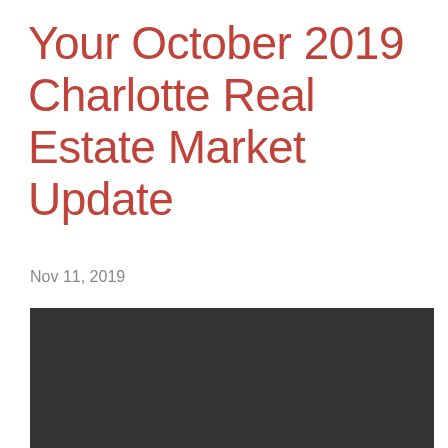Your October 2019 Charlotte Real Estate Market Update
Nov 11, 2019
[Figure (photo): Dark rectangular image placeholder, predominantly dark grey/charcoal color]